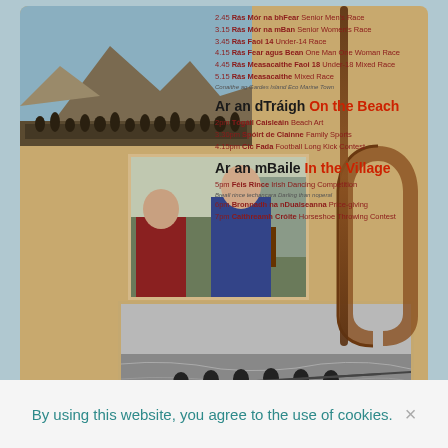[Figure (photo): Collage image with mountain/beach landscape, crowd at bottom, two people in sports gear, and black-and-white rowing team on water. Schedule text overlay on right side.]
2.45 Rás Mór na bhFear Senior Men's Race
3.15 Rás Mór na mBan Senior Women's Race
3.45 Rás Faoi 14 Under-14 Race
4.15 Rás Fear agus Bean One Man One Woman Race
4.45 Rás Measacaithe Faoi 18 Under-18 Mixed Race
5.15 Rás Measacaithe Mixed Race
Ar an dTráigh On the Beach
2pm Tógáil Caisleáin Beach Art
3.30pm Spóirt de Clainne Family Sports
4.15pm Cic Fada Football Long Kick Contest
Ar an mBaile In the Village
5pm Féis Rince Irish Dancing Competition
6pm Bronnadh na nDuaiseanna Price-giving
7pm Caithreamh Cróite Horseshoe Throwing Contest
[Figure (logo): Partial logo with teal and orange swoosh/wave shapes on white background]
By using this website, you agree to the use of cookies.